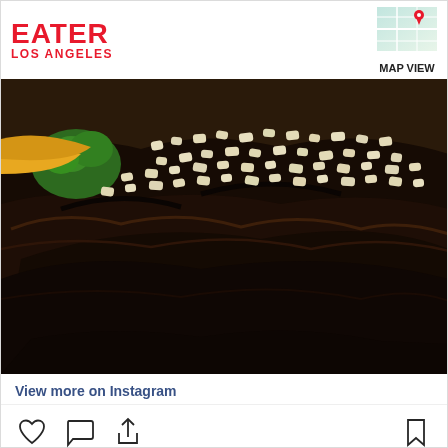EATER LOS ANGELES
[Figure (photo): Map view thumbnail in top right corner]
[Figure (photo): Close-up photo of grilled steak topped with chopped garlic/onions, served on a white plate with broccoli and yellow side dish visible in background]
View more on Instagram
[Figure (infographic): Instagram action icons: heart (like), comment bubble, share arrow on left; bookmark icon on right]
120 likes
Add a comment...